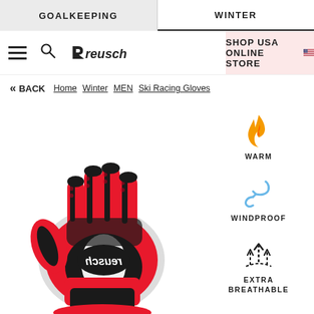GOALKEEPING  |  WINTER
[Figure (logo): Reusch brand logo with hamburger menu, search icon, and SHOP USA ONLINE STORE button with US flag]
<< BACK  Home  Winter  MEN  Ski Racing Gloves
[Figure (photo): Reusch ski racing glove in red, black, and white colors shown from palm side with Reusch logo mirrored on palm]
WARM
WINDPROOF
EXTRA BREATHABLE